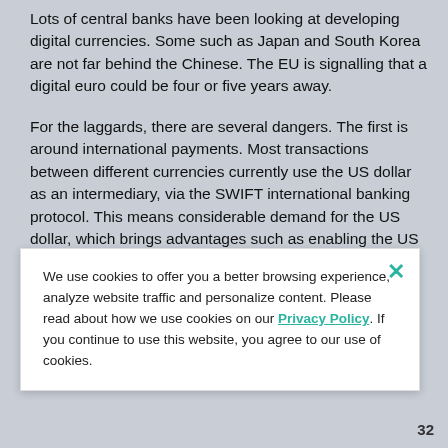Lots of central banks have been looking at developing digital currencies. Some such as Japan and South Korea are not far behind the Chinese. The EU is signalling that a digital euro could be four or five years away.
For the laggards, there are several dangers. The first is around international payments. Most transactions between different currencies currently use the US dollar as an intermediary, via the SWIFT international banking protocol. This means considerable demand for the US dollar, which brings advantages such as enabling the US
We use cookies to offer you a better browsing experience, analyze website traffic and personalize content. Please read about how we use cookies on our Privacy Policy. If you continue to use this website, you agree to our use of cookies.
32